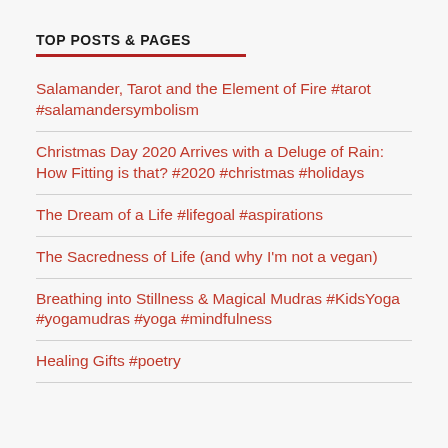TOP POSTS & PAGES
Salamander, Tarot and the Element of Fire #tarot #salamandersymbolism
Christmas Day 2020 Arrives with a Deluge of Rain: How Fitting is that? #2020 #christmas #holidays
The Dream of a Life #lifegoal #aspirations
The Sacredness of Life (and why I'm not a vegan)
Breathing into Stillness & Magical Mudras #KidsYoga #yogamudras #yoga #mindfulness
Healing Gifts #poetry